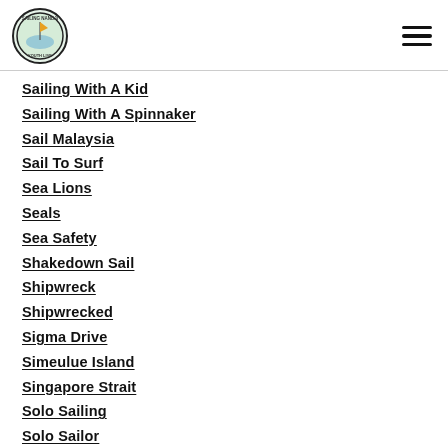Sailing Nandji logo and navigation menu
Sailing With A Kid
Sailing With A Spinnaker
Sail Malaysia
Sail To Surf
Sea Lions
Seals
Sea Safety
Shakedown Sail
Shipwreck
Shipwrecked
Sigma Drive
Simeulue Island
Singapore Strait
Solo Sailing
Solo Sailor
South Australia